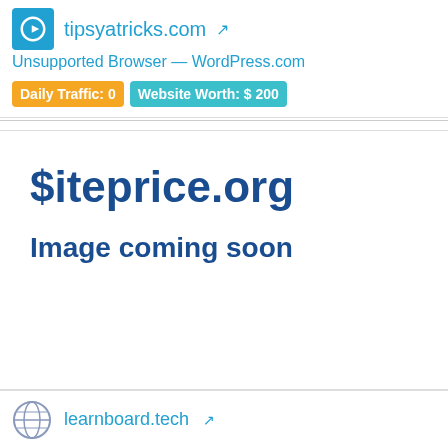[Figure (logo): WordPress logo icon (blue rounded square with W)]
tipsyatricks.com
Unsupported Browser — WordPress.com
Daily Traffic: 0
Website Worth: $ 200
[Figure (screenshot): siteprice.org placeholder image with text '$iteprice.org' and 'Image coming soon']
[Figure (logo): Globe icon for learnboard.tech]
learnboard.tech